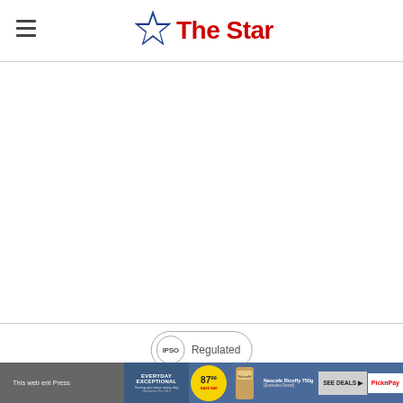The Star
[Figure (logo): The Star newspaper logo with blue star icon and red text reading 'The Star']
[Figure (other): IPSO Regulated badge - circular badge with IPSO text inside a circle and 'Regulated' text]
This web... Independent Press
[Figure (other): Pick n Pay advertisement banner: Everyday Exceptional, price 87.99, Nescafe Ricoffy 750g (Excludes Decaf), SEE DEALS button, Pick n Pay logo]